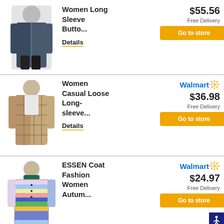[Figure (photo): Women's long coat product photo, dark blue/grey color]
Women Long Sleeve Butto...
Details
$55.56
Free Delivery
Go to store
[Figure (photo): Women's casual plaid shacket product photo, brown/beige]
Walmart
Women Casual Loose Long-sleeve...
Details
$36.98
Free Delivery
Go to store
[Figure (photo): ESSEN Coat colorful striped women's coat product photo]
Walmart
ESSEN Coat Fashion Women Autum...
$24.97
Free Delivery
Go to store